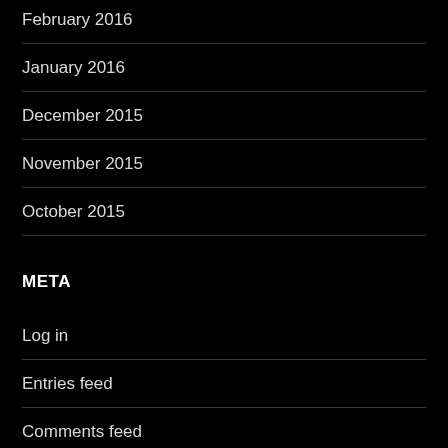February 2016
January 2016
December 2015
November 2015
October 2015
META
Log in
Entries feed
Comments feed
WordPress.org